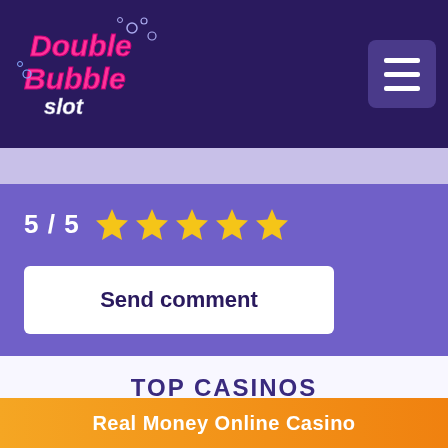[Figure (logo): Double Bubble Slot logo — pink and white bubbly lettering with bubbles, on dark navy background]
[Figure (illustration): Hamburger menu button — three white horizontal lines on a medium purple square button]
5 / 5 ★★★★★
Send comment
TOP CASINOS
[Figure (illustration): Partial casino card with purple gradient icon showing a star]
Real Money Online Casino